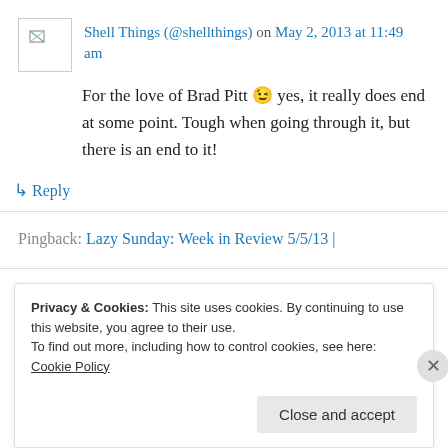Shell Things (@shellthings) on May 2, 2013 at 11:49 am
For the love of Brad Pitt 😉 yes, it really does end at some point. Tough when going through it, but there is an end to it!
↳ Reply
Pingback: Lazy Sunday: Week in Review 5/5/13 |
Privacy & Cookies: This site uses cookies. By continuing to use this website, you agree to their use.
To find out more, including how to control cookies, see here: Cookie Policy